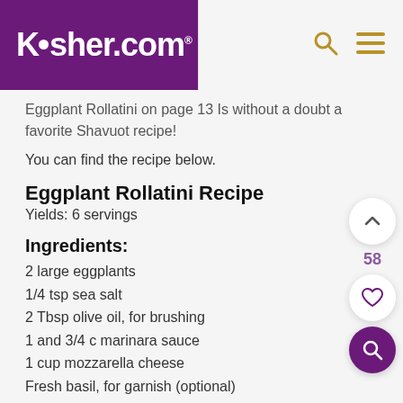Kosher.com
Eggplant Rollatini on page 13 Is without a doubt a favorite Shavuot recipe!
You can find the recipe below.
Eggplant Rollatini Recipe
Yields: 6 servings
Ingredients:
2 large eggplants
1/4 tsp sea salt
2 Tbsp olive oil, for brushing
1 and 3/4 c marinara sauce
1 cup mozzarella cheese
Fresh basil, for garnish (optional)